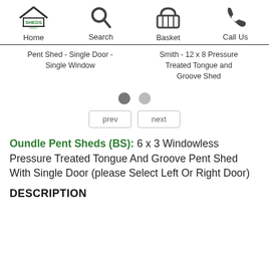Home | Search | Basket | Call Us
Pent Shed - Single Door - Single Window | Smith - 12 x 8 Pressure Treated Tongue and Groove Shed
[Figure (other): Carousel pagination dots and prev/next navigation buttons]
Oundle Pent Sheds (BS): 6 x 3 Windowless Pressure Treated Tongue And Groove Pent Shed With Single Door (please Select Left Or Right Door)
DESCRIPTION